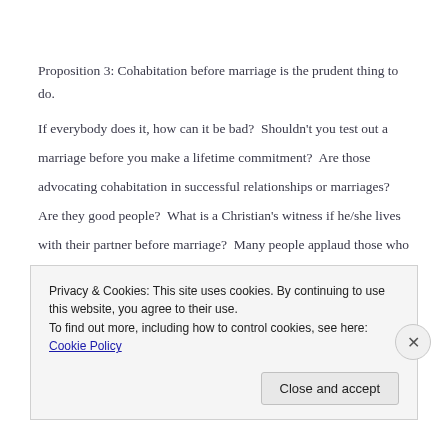Proposition 3: Cohabitation before marriage is the prudent thing to do.
If everybody does it, how can it be bad?  Shouldn't you test out a marriage before you make a lifetime commitment?  Are those advocating cohabitation in successful relationships or marriages?  Are they good people?  What is a Christian's witness if he/she lives with their partner before marriage?  Many people applaud those who wait until engagement for cohabitation; is there any validity to that?  How long a cohabitation is advocated?  Does cohabitation actually sabotage the relationship, whereas starting with commitment
Privacy & Cookies: This site uses cookies. By continuing to use this website, you agree to their use.
To find out more, including how to control cookies, see here: Cookie Policy
Close and accept